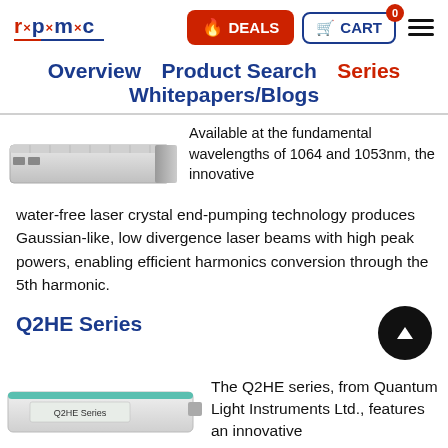[Figure (logo): RPMC Lasers logo with red X marks and blue dots and letters]
[Figure (infographic): Red DEALS button with flame icon and blue CART button with shopping cart icon and badge showing 0, plus hamburger menu icon]
Overview   Product Search   Series   Whitepapers/Blogs
[Figure (photo): White laser product device, angled view showing metallic/white enclosure]
Available at the fundamental wavelengths of 1064 and 1053nm, the innovative water-free laser crystal end-pumping technology produces Gaussian-like, low divergence laser beams with high peak powers, enabling efficient harmonics conversion through the 5th harmonic.
Q2HE Series
[Figure (photo): Q2HE laser product, white/teal colored enclosure]
The Q2HE series, from Quantum Light Instruments Ltd., features an innovative